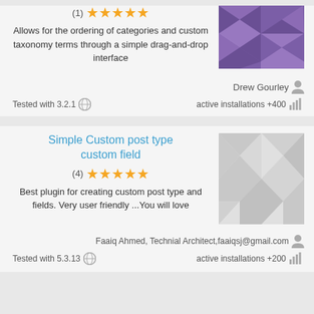(1) ★★★★★
Allows for the ordering of categories and custom taxonomy terms through a simple drag-and-drop interface
[Figure (illustration): Purple geometric/diamond pattern thumbnail image]
Drew Gourley
Tested with 3.2.1   active installations +400
Simple Custom post type custom field
(4) ★★★★★
Best plugin for creating custom post type and fields. Very user friendly ...You will love
[Figure (illustration): Gray and white checkered/geometric pattern thumbnail image]
Faaiq Ahmed, Technial Architect,faaiqsj@gmail.com
Tested with 5.3.13   active installations +200